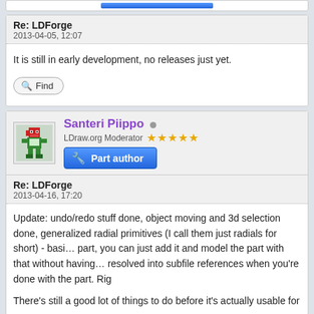[Figure (screenshot): Top partial post card with a blue button bar visible at top]
Re: LDForge
2013-04-05, 12:07
It is still in early development, no releases just yet.
[Figure (screenshot): Find button with magnifying glass icon]
[Figure (screenshot): User avatar showing pixel art character]
Santeri Piippo
LDraw.org Moderator ★★★★★
[Figure (screenshot): Part author badge button with tools icon]
Re: LDForge
2013-04-16, 17:20
Update: undo/redo stuff done, object moving and 3d selection done, generalized radial primitives (I call them just radials for short) - basically if you have a radial primitive in a part, you can just add it and model the part with that without having to worry about it. They get resolved into subfile references when you're done with the part. Rig
There's still a good lot of things to do before it's actually usable for